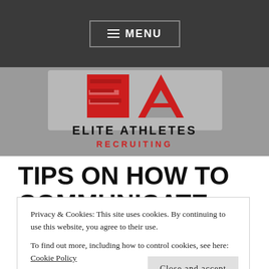MENU
[Figure (logo): Elite Athletes Recruiting logo — large red 'EA' letters above 'ELITE ATHLETES RECRUITING' text on a grey background]
TIPS ON HOW TO COMMUNICATE WITH
Privacy & Cookies: This site uses cookies. By continuing to use this website, you agree to their use.
To find out more, including how to control cookies, see here: Cookie Policy
Close and accept